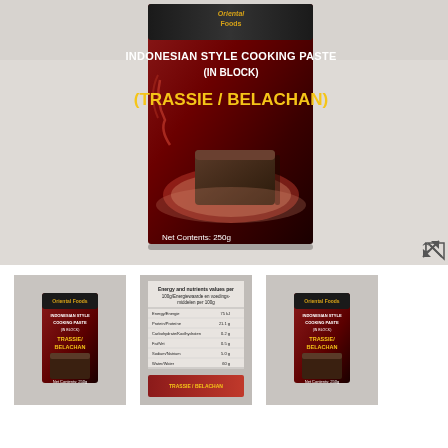[Figure (photo): Main product photo of Oriental Foods Indonesian Style Cooking Paste (Trassie/Belachan) in a block, 250g box with dark red and black packaging showing a block of shrimp paste on a decorative plate, photographed against a light grey/white background.]
[Figure (photo): Thumbnail 1: Front view of the Trassie/Belachan product box showing the front label with brand logo and product name.]
[Figure (photo): Thumbnail 2: Back/side view of the product box showing nutritional information label.]
[Figure (photo): Thumbnail 3: Another front view of the product box, similar to thumbnail 1.]